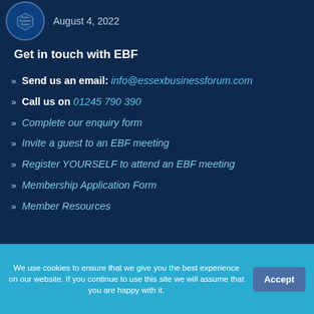August 4, 2022
Get in touch with EBF
» Send us an email: info@essexbusinessforum.com
» Call us on 01245 790 390
» Complete our enquiry form
» Invite a guest to an EBF meeting
» Register YOURSELF to attend an EBF meeting
» Membership Application Form
» Member Resources
[Figure (infographic): Social media icons: Facebook, Twitter, RSS, Instagram]
We use cookies to ensure that we give you the best experience on our website. If you continue to use this site we will assume that you are happy with it. Accept